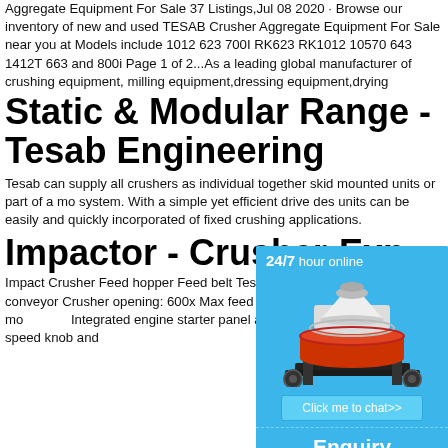Aggregate Equipment For Sale 37 Listings,Jul 08 2020 · Browse our inventory of new and used TESAB Crusher Aggregate Equipment For Sale near you at Models include 1012 623 700I RK623 RK1012 10570 643 1412T 663 and 800i Page 1 of 2...As a leading global manufacturer of crushing equipment, milling equipment,dressing equipment,drying
Static & Modular Range - Tesab Engineering
Tesab can supply all crushers as individual together skid mounted units or part of a mo system. With a simple yet efficient drive des units can be easily and quickly incorporated of fixed crushing applications.
Impactor - Crusher-Exp
Impact Crusher Feed hopper Feed belt Tes Discharge conveyor Crusher opening: 600x Max feed size: ... motor and overcentre mo Integrated engine starter panel and machin with adjacent feed speed knob and
[Figure (infographic): Chat widget with blue background showing 24/7 hour online text, an image of a cone crusher/mining machine, a 'Click me to chat>>' button, an 'Enquiry' section, and 'limingjlmofen' text at bottom]